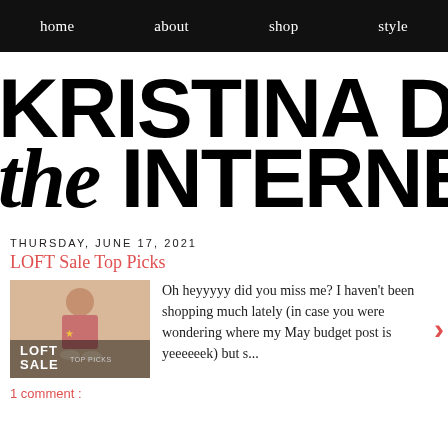home   about   shop   style
KRISTINA DOES the INTERNET
THURSDAY, JUNE 17, 2021
LOFT Sale Top Picks
[Figure (photo): Thumbnail image for LOFT Sale Top Picks blog post showing a woman in pink dress with shoes, overlaid with text 'LOFT SALE TOP PICKS']
Oh heyyyyy did you miss me? I haven't been shopping much lately (in case you were wondering where my May budget post is yeeeeeek) but s...
1 comment :